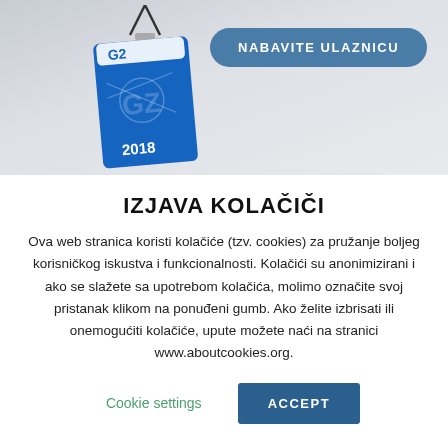[Figure (photo): Conference badge/lanyard for G2 2018 event on a light grey background, with a blue badge card showing geometric design and '2018' text. A blue rounded button overlay reads 'NABAVITE ULAZNICU'.]
IZJAVA KOLAČIČI
Ova web stranica koristi kolačiće (tzv. cookies) za pružanje boljeg korisničkog iskustva i funkcionalnosti. Kolačići su anonimizirani i ako se slažete sa upotrebom kolačića, molimo označite svoj pristanak klikom na ponuđeni gumb. Ako želite izbrisati ili onemogućiti kolačiće, upute možete naći na stranici www.aboutcookies.org.
Cookie settings    ACCEPT